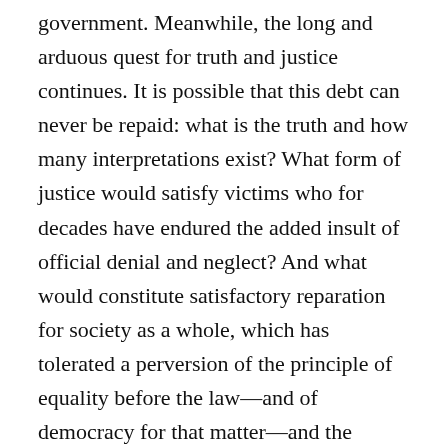government. Meanwhile, the long and arduous quest for truth and justice continues. It is possible that this debt can never be repaid: what is the truth and how many interpretations exist? What form of justice would satisfy victims who for decades have endured the added insult of official denial and neglect? And what would constitute satisfactory reparation for society as a whole, which has tolerated a perversion of the principle of equality before the law—and of democracy for that matter—and the existence of a judicial system that is precluded from reaching particular sectors of society?